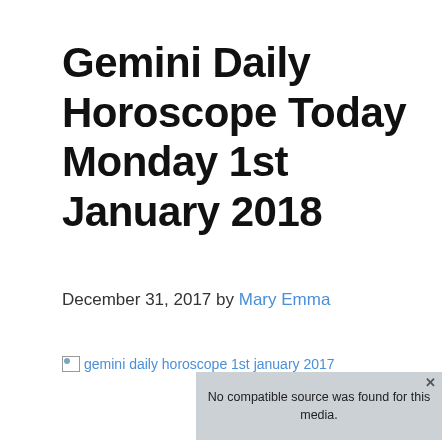Gemini Daily Horoscope Today Monday 1st January 2018
December 31, 2017 by Mary Emma
[Figure (screenshot): Broken image placeholder showing alt text 'gemini daily horoscope 1st january 2017' with a media player overlay reading 'No compatible source was found for this media.' and a dark background with partially visible text 'Gemini Today' and a close/error icon.]